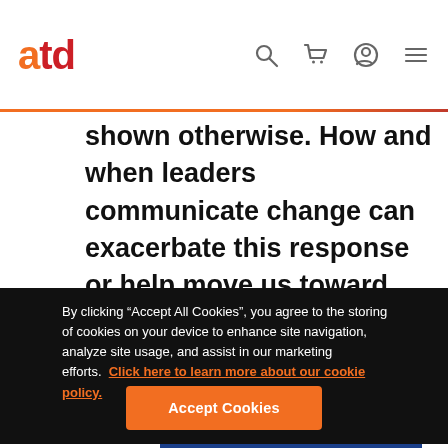atd
shown otherwise. How and when leaders communicate change can exacerbate this response or help move us toward acceptance and resilience.
[Figure (other): Poster Guard advertisement banner with text 'POSTER GUARD - Complete, Worry-Free']
By clicking "Accept All Cookies", you agree to the storing of cookies on your device to enhance site navigation, analyze site usage, and assist in our marketing efforts. Click here to learn more about our cookie policy.
Accept Cookies